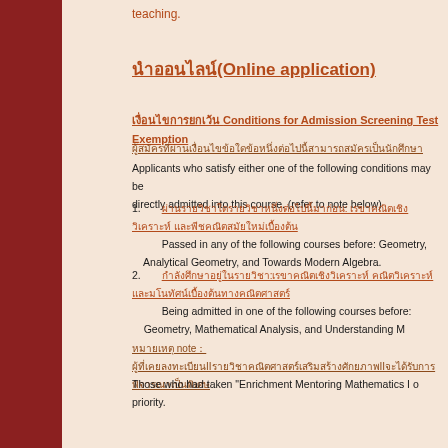teaching.
นำออนไลน์(Online application)
เงื่อนไขการยกเว้น Conditions for Admission Screening Test Exemption
ผู้สมัครที่ผ่านเงื่อนไขข้อใดข้อหนึ่งต่อไปนี้สามารถสมัครเป็นนักศึกษา
Applicants who satisfy either one of the following conditions may be directly admitted into this course. (refer to note below)
1. ผ่านรายวิชาใดรายวิชาหนึ่งต่อไปนี้มาก่อน: เรขาคณิตเชิงวิเคราะห์ และพีชคณิตสมัยใหม่เบื้องต้น
Passed in any of the following courses before: Geometry, Analytical Geometry, and Towards Modern Algebra.
2. กำลังศึกษาอยู่ในรายวิชา:เรขาคณิตเชิงวิเคราะห์ คณิตวิเคราะห์ และมโนทัศน์เบื้องต้นทางคณิตศาสตร์
Being admitted in one of the following courses before: Geometry, Mathematical Analysis, and Understanding Mathematics
หมายเหตุ note：
ผู้ที่เคยลงทะเบียนIIรายวิชาคณิตศาสตร์เสริมสร้างศักยภาพIIจะได้รับการพิจารณาเป็นพิเศษ
Those who had taken "Enrichment Mentoring Mathematics I o priority.